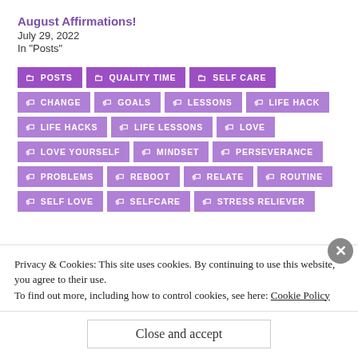August Affirmations!
July 29, 2022
In "Posts"
POSTS | QUALITY TIME | SELF CARE | CHANGE | GOALS | LESSONS | LIFE HACK | LIFE HACKS | LIFE LESSONS | LOVE | LOVE YOURSELF | MINDSET | PERSEVERANCE | PROBLEMS | REBOOT | RELATE | ROUTINE | SELF LOVE | SELFCARE | STRESS RELIEVER
Privacy & Cookies: This site uses cookies. By continuing to use this website, you agree to their use.
To find out more, including how to control cookies, see here: Cookie Policy
Close and accept